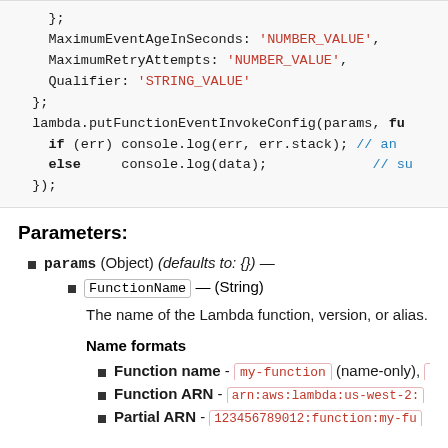[Figure (screenshot): Code block showing JavaScript with MaximumEventAgeInSeconds, MaximumRetryAttempts, Qualifier as string/number values, followed by lambda.putFunctionEventInvokeConfig call with if/else error handling.]
Parameters:
params (Object) (defaults to: {}) —
FunctionName — (String)
The name of the Lambda function, version, or alias.
Name formats
Function name - my-function (name-only), my
Function ARN - arn:aws:lambda:us-west-2:
Partial ARN - 123456789012:function:my-fu